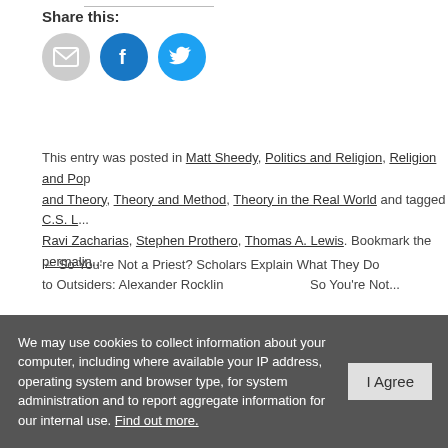Share this:
[Figure (infographic): Three social sharing icon circles: email (grey), Facebook (dark blue), Twitter (light blue)]
This entry was posted in Matt Sheedy, Politics and Religion, Religion and Pop and Theory, Theory and Method, Theory in the Real World and tagged C.S. L... Ravi Zacharias, Stephen Prothero, Thomas A. Lewis. Bookmark the permalin...
← So You're Not a Priest? Scholars Explain What They Do to Outsiders: Alexander Rocklin   So You're Not...
2 Responses to So You're Not a Priest? Scholars Explain What They Do to Outsiders: Matt Sheedy
Randi Warne says:
We may use cookies to collect information about your computer, including where available your IP address, operating system and browser type, for system administration and to report aggregate information for our internal use. Find out more.